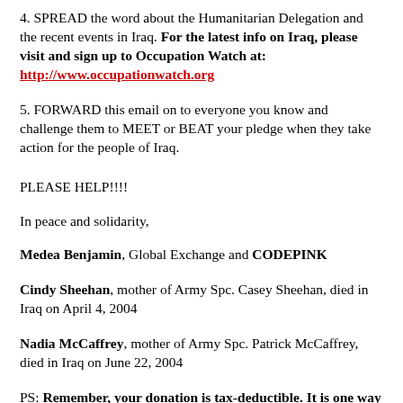4. SPREAD the word about the Humanitarian Delegation and the recent events in Iraq. For the latest info on Iraq, please visit and sign up to Occupation Watch at: http://www.occupationwatch.org
5. FORWARD this email on to everyone you know and challenge them to MEET or BEAT your pledge when they take action for the people of Iraq.
PLEASE HELP!!!!
In peace and solidarity,
Medea Benjamin, Global Exchange and CODEPINK
Cindy Sheehan, mother of Army Spc. Casey Sheehan, died in Iraq on April 4, 2004
Nadia McCaffrey, mother of Army Spc. Patrick McCaffrey, died in Iraq on June 22, 2004
PS: Remember, your donation is tax-deductible. It is one way to transfer money from war to money